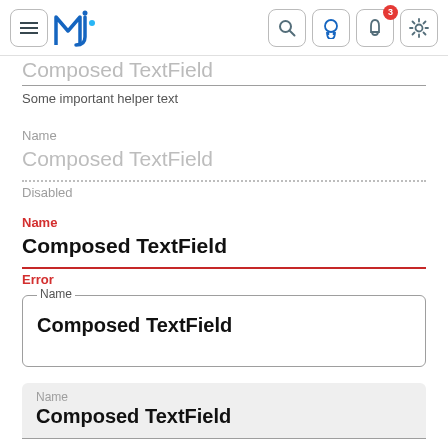MJ — navigation bar with menu, logo, search, github, notifications (3), settings
Composed TextField
Some important helper text
Name
Composed TextField
Disabled
Name
Composed TextField
Error
Name
Composed TextField
Name
Composed TextField